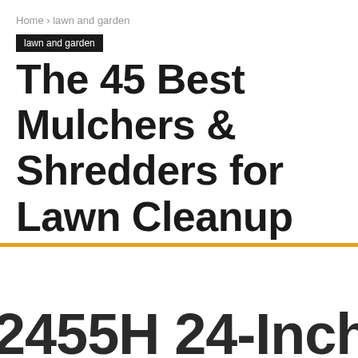Home › lawn and garden
lawn and garden
The 45 Best Mulchers & Shredders for Lawn Cleanup
2455H 24-Inch Ho